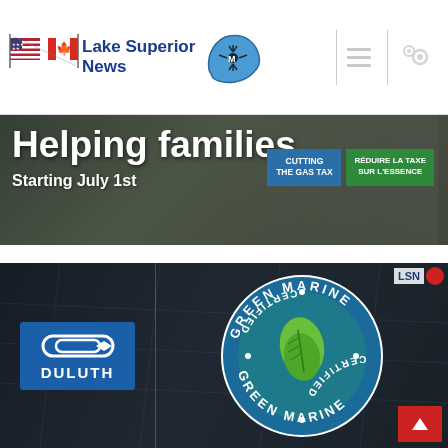Lake Superior News
[Figure (screenshot): News banner showing 'Helping families Starting July 1st' with gas tax cutting signs in English and French]
[Figure (screenshot): Duluth logo and Green Marine Certified certification badge on aerial background]